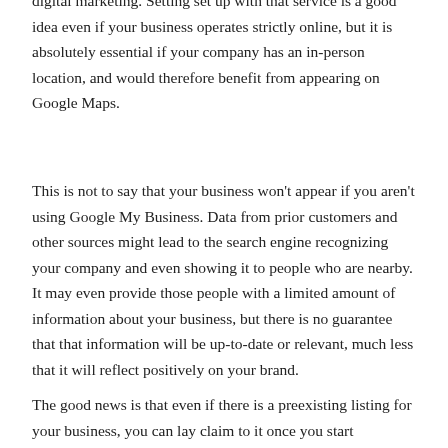digital marketing. Setting set up with that service is a good idea even if your business operates strictly online, but it is absolutely essential if your company has an in-person location, and would therefore benefit from appearing on Google Maps.
This is not to say that your business won't appear if you aren't using Google My Business. Data from prior customers and other sources might lead to the search engine recognizing your company and even showing it to people who are nearby. It may even provide those people with a limited amount of information about your business, but there is no guarantee that that information will be up-to-date or relevant, much less that it will reflect positively on your brand.
The good news is that even if there is a preexisting listing for your business, you can lay claim to it once you start